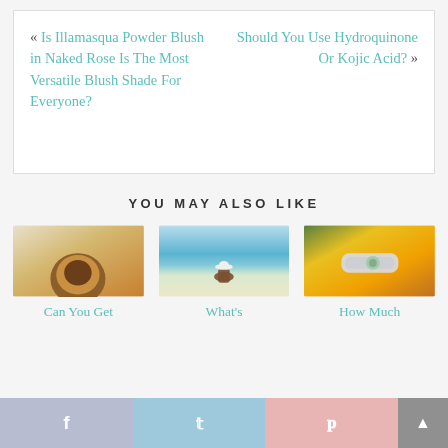« Is Illamasqua Powder Blush in Naked Rose Is The Most Versatile Blush Shade For Everyone?
Should You Use Hydroquinone Or Kojic Acid? »
YOU MAY ALSO LIKE
[Figure (photo): Close-up of a coconut on a sandy beach]
Can You Get
[Figure (photo): Woman in white hat sitting on sandy beach facing turquoise ocean]
What's
[Figure (photo): A cosmetic spray bottle with a CO logo lying among sunflowers]
How Much